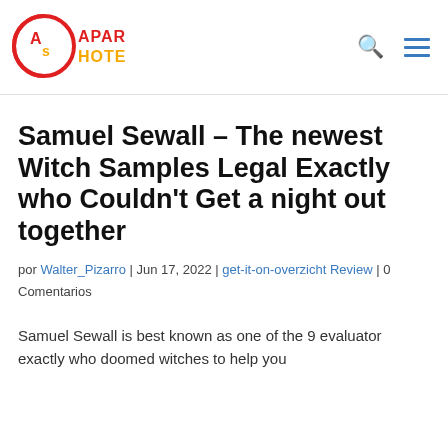[Figure (logo): Apart Hotel logo with red circle containing 'As' and orange/yellow text 'APART HOTEL']
Samuel Sewall – The newest Witch Samples Legal Exactly who Couldn't Get a night out together
por Walter_Pizarro | Jun 17, 2022 | get-it-on-overzicht Review | 0 Comentarios
Samuel Sewall is best known as one of the 9 evaluator exactly who doomed witches to help you